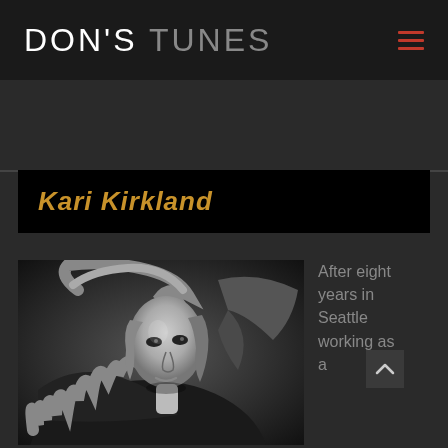DON'S TUNES
Kari Kirkland
[Figure (photo): Black and white portrait photo of a blonde woman (Kari Kirkland) with long wavy hair, wearing a dark top, reclining with one arm raised behind her head, looking upward. Dramatic studio lighting against a dark background.]
After eight years in Seattle working as a